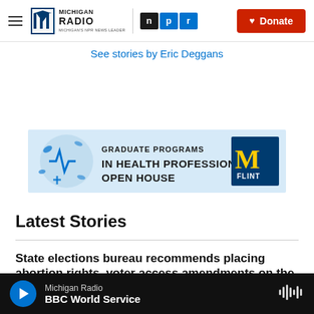Michigan Radio | NPR | Donate
See stories by Eric Deggans
[Figure (other): Advertisement banner for University of Michigan Flint Graduate Programs in Health Professions Open House]
Latest Stories
State elections bureau recommends placing abortion rights, voter access amendments on the ballot
Michigan Radio | BBC World Service — audio player bar